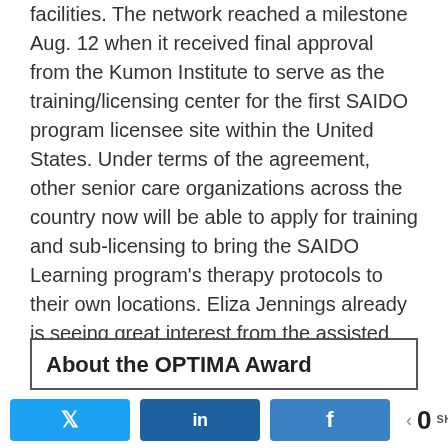facilities. The network reached a milestone Aug. 12 when it received final approval from the Kumon Institute to serve as the training/licensing center for the first SAIDO program licensee site within the United States. Under terms of the agreement, other senior care organizations across the country now will be able to apply for training and sub-licensing to bring the SAIDO Learning program's therapy protocols to their own locations. Eliza Jennings already is seeing great interest from the assisted living sector, Hiller says, and another Ohio senior care organization already has signed on to be the next program trainee site.
About the OPTIMA Award
[Figure (infographic): Social sharing bar with Twitter, LinkedIn, and Facebook buttons, and a share count showing 0 SHARES]